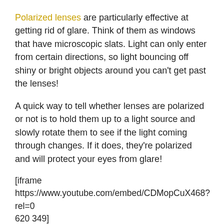Polarized lenses are particularly effective at getting rid of glare. Think of them as windows that have microscopic slats. Light can only enter from certain directions, so light bouncing off shiny or bright objects around you can't get past the lenses!
A quick way to tell whether lenses are polarized or not is to hold them up to a light source and slowly rotate them to see if the light coming through changes. If it does, they're polarized and will protect your eyes from glare!
[iframe https://www.youtube.com/embed/CDMopCuX468?rel=0 620 349]
Cheap Sunglasses Are Dangerous
A cheap pair of sunglasses might look cool and save you from having to squint your way through a sunny day, but you could actually be putting your eyes in more